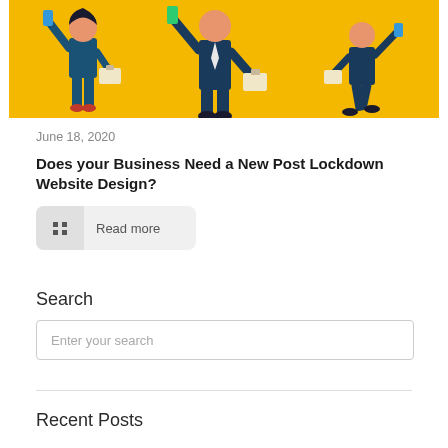[Figure (illustration): Yellow background illustration of business people in dark teal suits holding smartphones and briefcases, walking figures in a flat cartoon style]
June 18, 2020
Does your Business Need a New Post Lockdown Website Design?
Read more
Search
Enter your search
Recent Posts